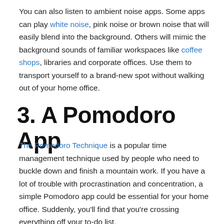You can also listen to ambient noise apps. Some apps can play white noise, pink noise or brown noise that will easily blend into the background. Others will mimic the background sounds of familiar workspaces like coffee shops, libraries and corporate offices. Use them to transport yourself to a brand-new spot without walking out of your home office.
3. A Pomodoro App
The Pomodoro Technique is a popular time management technique used by people who need to buckle down and finish a mountain work. If you have a lot of trouble with procrastination and concentration, a simple Pomodoro app could be essential for your home office. Suddenly, you'll find that you're crossing everything off your to-do list.